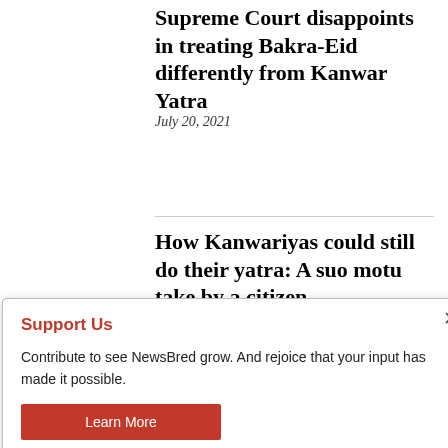Supreme Court disappoints in treating Bakra-Eid differently from Kanwar Yatra
July 20, 2021
How Kanwariyas could still do their yatra: A suo motu take by a citizen
[Figure (other): Support Us modal dialog with red heading, descriptive text about NewsBred, and a Learn More button]
Contribute to see NewsBred grow. And rejoice that your input has made it possible.
Cookie Settings and Accept All buttons for cookie consent. Partial text: use of ALL the cookies. However, you may visit Cookie Settings" to provide a controlled consent.